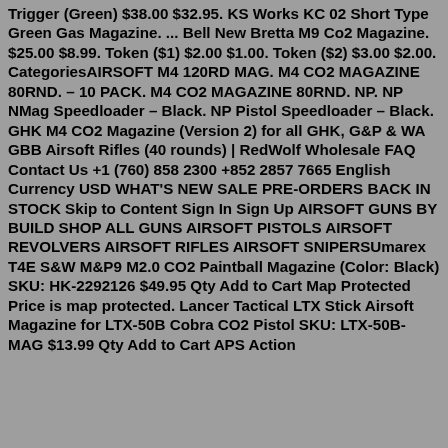Trigger (Green) $38.00 $32.95. KS Works KC 02 Short Type Green Gas Magazine. ... Bell New Bretta M9 Co2 Magazine. $25.00 $8.99. Token ($1) $2.00 $1.00. Token ($2) $3.00 $2.00. CategoriesAIRSOFT M4 120RD MAG. M4 CO2 MAGAZINE 80RND. – 10 PACK. M4 CO2 MAGAZINE 80RND. NP. NP NMag Speedloader – Black. NP Pistol Speedloader – Black. GHK M4 CO2 Magazine (Version 2) for all GHK, G&P & WA GBB Airsoft Rifles (40 rounds) | RedWolf Wholesale FAQ Contact Us +1 (760) 858 2300 +852 2857 7665 English Currency USD WHAT'S NEW SALE PRE-ORDERS BACK IN STOCK Skip to Content Sign In Sign Up AIRSOFT GUNS BY BUILD SHOP ALL GUNS AIRSOFT PISTOLS AIRSOFT REVOLVERS AIRSOFT RIFLES AIRSOFT SNIPERSUmarex T4E S&W M&P9 M2.0 CO2 Paintball Magazine (Color: Black) SKU: HK-2292126 $49.95 Qty Add to Cart Map Protected Price is map protected. Lancer Tactical LTX Stick Airsoft Magazine for LTX-50B Cobra CO2 Pistol SKU: LTX-50B-MAG $13.99 Qty Add to Cart APS Action